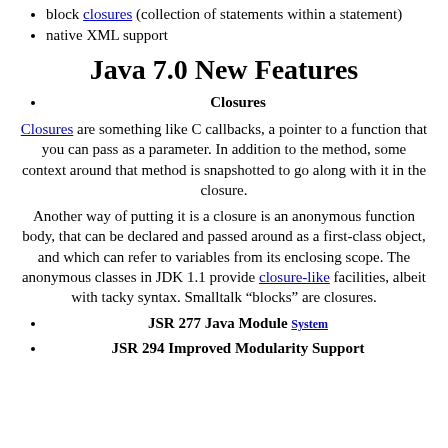block closures (collection of statements within a statement)
native XML support
Java 7.0 New Features
Closures
Closures are something like C callbacks, a pointer to a function that you can pass as a parameter. In addition to the method, some context around that method is snapshotted to go along with it in the closure.
Another way of putting it is a closure is an anonymous function body, that can be declared and passed around as a first-class object, and which can refer to variables from its enclosing scope. The anonymous classes in JDK 1.1 provide closure-like facilities, albeit with tacky syntax. Smalltalk “blocks” are closures.
JSR 277 Java Module System
JSR 294 Improved Modularity Support